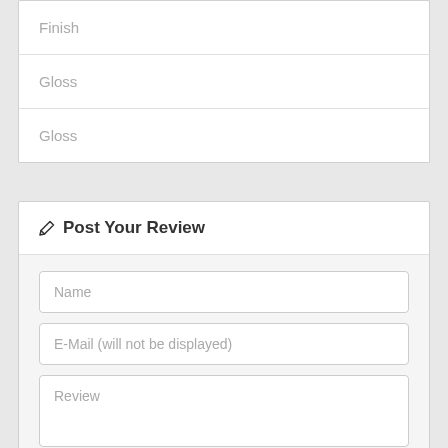Finish
Gloss
Gloss
Post Your Review
Name
E-Mail (will not be displayed)
Review